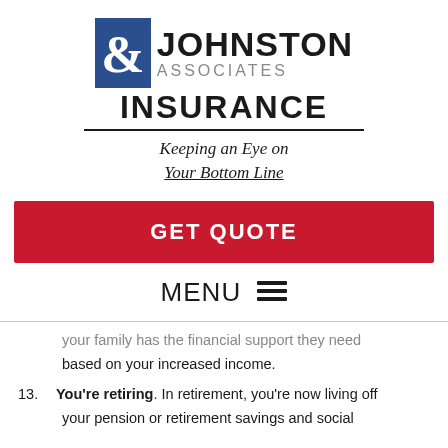[Figure (logo): Johnston & Associates Insurance logo with blue box containing ampersand, bold JOHNSTON text, gray ASSOCIATES subtext, bold INSURANCE text with underline, and italic tagline 'Keeping an Eye on Your Bottom Line']
GET QUOTE
MENU ☰
your family has the financial support they need based on your increased income.
13. You're retiring. In retirement, you're now living off your pension or retirement savings and social